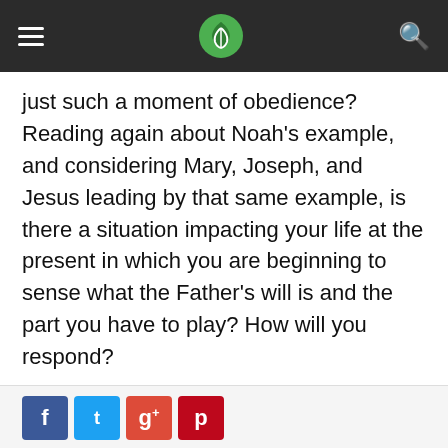[Navigation bar with hamburger menu, green leaf logo, and search icon]
just such a moment of obedience? Reading again about Noah’s example, and considering Mary, Joseph, and Jesus leading by that same example, is there a situation impacting your life at the present in which you are beginning to sense what the Father’s will is and the part you have to play? How will you respond?
For the Awakening,
Dan Wilt
[Figure (other): Social sharing buttons: Facebook (blue), Twitter (light blue), Google+ (red-orange), Pinterest (red)]